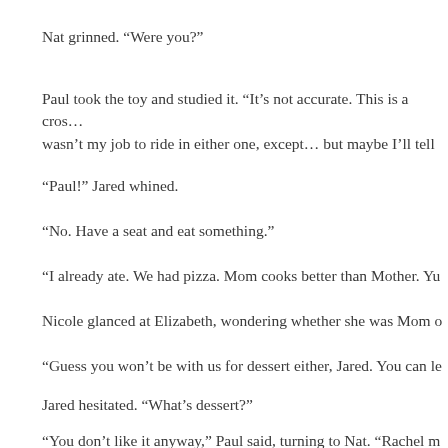Nat grinned. “Were you?”
Paul took the toy and studied it. “It’s not accurate. This is a cros… wasn’t my job to ride in either one, except… but maybe I’ll tell
“Paul!” Jared whined.
“No. Have a seat and eat something.”
“I already ate. We had pizza. Mom cooks better than Mother. Yu
Nicole glanced at Elizabeth, wondering whether she was Mom o
“Guess you won’t be with us for dessert either, Jared. You can le
Jared hesitated. “What’s dessert?”
“You don’t like it anyway,” Paul said, turning to Nat. “Rachel m